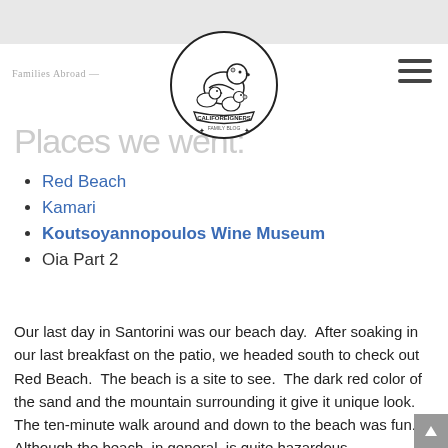[Figure (photo): Top banner image, faded gray photograph]
[Figure (logo): Califoreigners Family Blog logo — circular badge with duck illustrations]
Places we went:
Red Beach
Kamari
Koutsoyannopoulos Wine Museum
Oia Part 2
Our last day in Santorini was our beach day.  After soaking in our last breakfast on the patio, we headed south to check out Red Beach.  The beach is a site to see.  The dark red color of the sand and the mountain surrounding it give it unique look.  The ten-minute walk around and down to the beach was fun.  Although the beach, in general, is quite hazardous